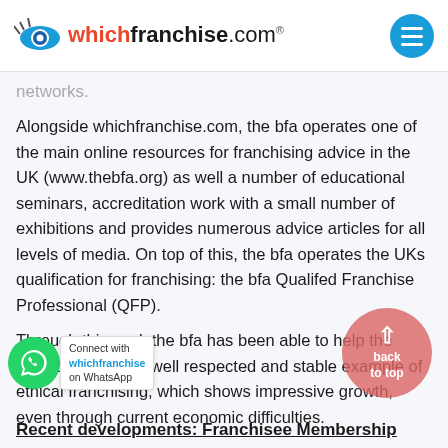whichfranchise.com®
networks.
Alongside whichfranchise.com, the bfa operates one of the main online resources for franchising advice in the UK (www.thebfa.org) as well a number of educational seminars, accreditation work with a small number of exhibitions and provides numerous advice articles for all levels of media. On top of this, the bfa operates the UKs qualification for franchising: the bfa Qualifed Franchise Professional (QFP).
Through this work the bfa has been able to help the industry grow to a well respected and stable example of ethical franchising, which shows impressive growth, even through current economic difficulties.
Recent developments: Franchisee Membership